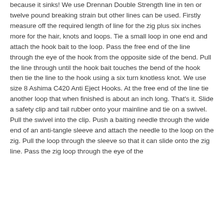because it sinks! We use Drennan Double Strength line in ten or twelve pound breaking strain but other lines can be used. Firstly measure off the required length of line for the zig plus six inches more for the hair, knots and loops. Tie a small loop in one end and attach the hook bait to the loop. Pass the free end of the line through the eye of the hook from the opposite side of the bend. Pull the line through until the hook bait touches the bend of the hook then tie the line to the hook using a six turn knotless knot. We use size 8 Ashima C420 Anti Eject Hooks. At the free end of the line tie another loop that when finished is about an inch long. That's it. Slide a safety clip and tail rubber onto your mainline and tie on a swivel. Pull the swivel into the clip. Push a baiting needle through the wide end of an anti-tangle sleeve and attach the needle to the loop on the zig. Pull the loop through the sleeve so that it can slide onto the zig line. Pass the zig loop through the eye of the